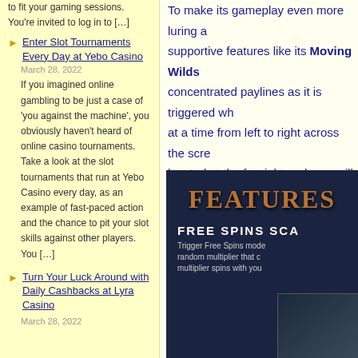to fit your gaming sessions. You're invited to log in to […]
Enter Slot Tournaments Every Day at Yebo Casino
March 28, 2022
If you imagined online gambling to be just a case of 'you against the machine', you obviously haven't heard of online casino tournaments. Take a look at the slot tournaments that run at Yebo Casino every day, as an example of fast-paced action and the chance to pit your slot skills against other players. You […]
Turn Your Luck Around with Daily Cashbacks at Lyra Casino March 28, 2022
To make its gameplay even more luring a supportive features like its Moving Wilds concentrated paylines as it is triggered wh at a time from left to right across the scre located at the far right reel, you will receiv
[Figure (screenshot): Dark blue background game features panel showing 'FEATURES' title in bronze/copper letters, 'FREE SPINS SCA...' subtitle in white bold text, descriptive text about triggering Free Spins mode with a random multiplier, and a partial game screenshot at bottom right.]